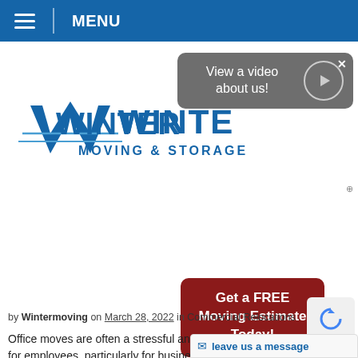≡ MENU
[Figure (logo): Winter Moving & Storage logo with blue stylized 'W' and text 'WINTER MOVING & STORAGE']
[Figure (screenshot): Gray popup with text 'View a video about us!' and a circular play button]
[Figure (infographic): Dark red rounded button with text 'Get a FREE Moving Estimate Today!']
How to Plan an Office Move in Northwest Arkansas | Winter Moving & Storage
by Wintermoving on March 28, 2022 in Commercial Relocations
Office moves are often a stressful and hectic for employees, particularly for businesses. However, sometimes thes